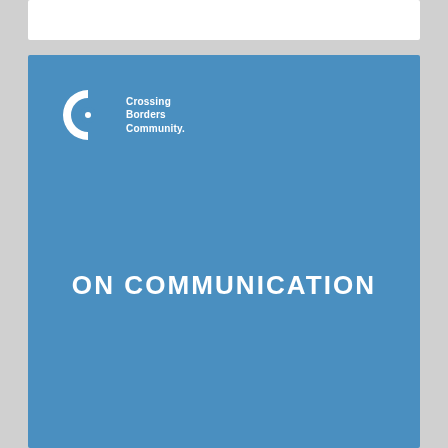[Figure (logo): Crossing Borders Community logo — white C-shape with inner circle and text 'Crossing Borders Community.' on blue background]
ON COMMUNICATION